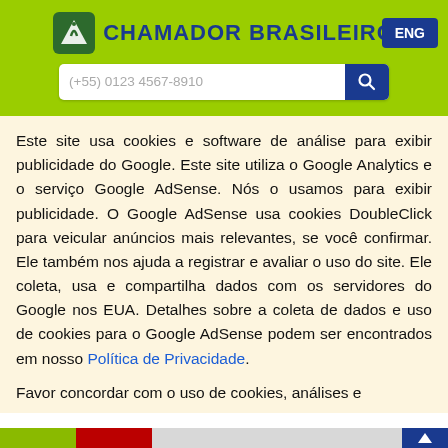CHAMADOR BRASILEIRO
Este site usa cookies e software de análise para exibir publicidade do Google. Este site utiliza o Google Analytics e o serviço Google AdSense. Nós o usamos para exibir publicidade. O Google AdSense usa cookies DoubleClick para veicular anúncios mais relevantes, se você confirmar. Ele também nos ajuda a registrar e avaliar o uso do site. Ele coleta, usa e compartilha dados com os servidores do Google nos EUA. Detalhes sobre a coleta de dados e uso de cookies para o Google AdSense podem ser encontrados em nosso Política de Privacidade.
Favor concordar com o uso de cookies, análises e